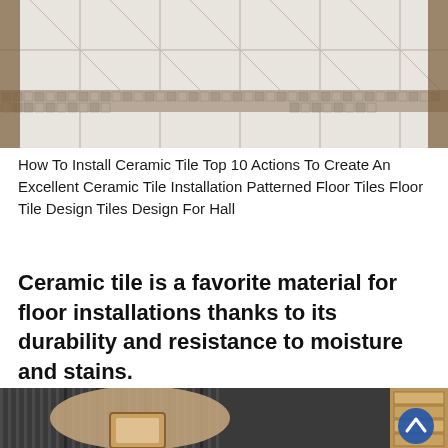[Figure (photo): Top-down view of ceramic tile floor installation with white large tiles and a decorative border of small brown mosaic tiles arranged in a geometric pattern. Wooden table legs visible at edges.]
How To Install Ceramic Tile Top 10 Actions To Create An Excellent Ceramic Tile Installation Patterned Floor Tiles Floor Tile Design Tiles Design For Hall
Ceramic tile is a favorite material for floor installations thanks to its durability and resistance to moisture and stains.
[Figure (photo): Close-up of a hand holding a small ceramic tile sample near corrugated metal background, with wooden tile samples visible in foreground. A blue scroll-to-top button with upward arrow is overlaid in the bottom right corner.]